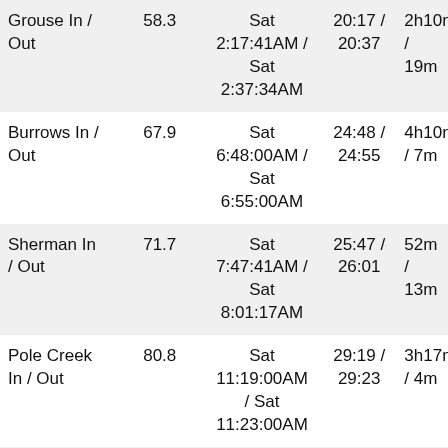| Location | Miles | Time | Elapsed | Duration |
| --- | --- | --- | --- | --- |
| Grouse In / Out | 58.3 | Sat 2:17:41AM / Sat 2:37:34AM | 20:17 / 20:37 | 2h10m / 19m |
| Burrows In / Out | 67.9 | Sat 6:48:00AM / Sat 6:55:00AM | 24:48 / 24:55 | 4h10m / 7m |
| Sherman In / Out | 71.7 | Sat 7:47:41AM / Sat 8:01:17AM | 25:47 / 26:01 | 52m / 13m |
| Pole Creek In / Out | 80.8 | Sat 11:19:00AM / Sat 11:23:00AM | 29:19 / 29:23 | 3h17m / 4m |
| Maggie In / | 85.1 | Sat | 30:50 / | 1h27m / 3m |